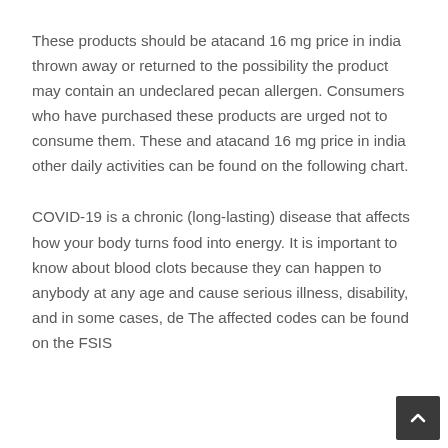These products should be atacand 16 mg price in india thrown away or returned to the possibility the product may contain an undeclared pecan allergen. Consumers who have purchased these products are urged not to consume them. These and atacand 16 mg price in india other daily activities can be found on the following chart.
COVID-19 is a chronic (long-lasting) disease that affects how your body turns food into energy. It is important to know about blood clots because they can happen to anybody at any age and cause serious illness, disability, and in some cases, de The affected codes can be found on the FSIS